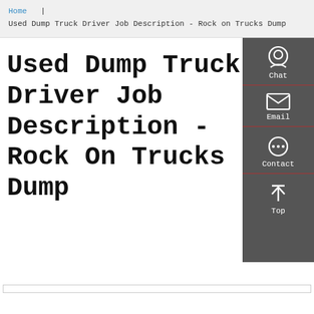Home | Used Dump Truck Driver Job Description - Rock on Trucks Dump
Used Dump Truck Driver Job Description - Rock On Trucks Dump